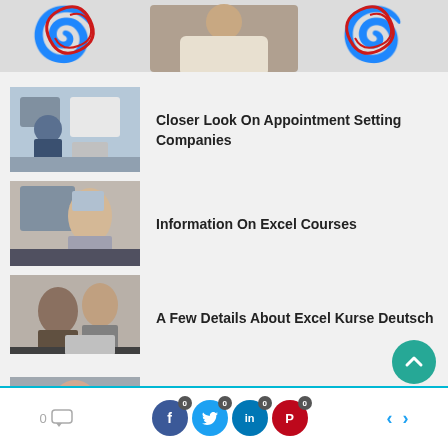[Figure (photo): Top banner with decorative red swirl logos and a person in background]
[Figure (photo): Thumbnail of man at desk on phone in office]
Closer Look On Appointment Setting Companies
[Figure (photo): Thumbnail of blonde woman at computer desk]
Information On Excel Courses
[Figure (photo): Thumbnail of two people working at a laptop]
A Few Details About Excel Kurse Deutsch
[Figure (photo): Thumbnail of woman smiling on phone]
Deeper Look On B2B Appointment Setting
0 [comment] | Facebook 0 | Twitter 0 | LinkedIn 0 | Pinterest 0 | < | >